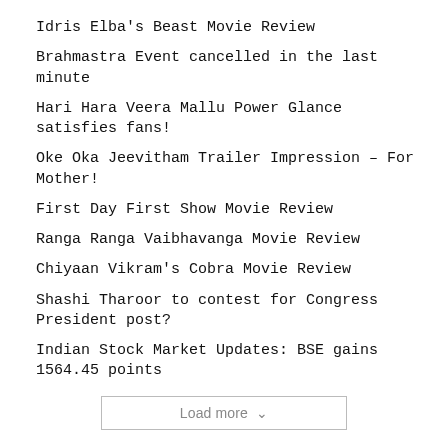Idris Elba's Beast Movie Review
Brahmastra Event cancelled in the last minute
Hari Hara Veera Mallu Power Glance satisfies fans!
Oke Oka Jeevitham Trailer Impression – For Mother!
First Day First Show Movie Review
Ranga Ranga Vaibhavanga Movie Review
Chiyaan Vikram's Cobra Movie Review
Shashi Tharoor to contest for Congress President post?
Indian Stock Market Updates: BSE gains 1564.45 points
Load more ∨